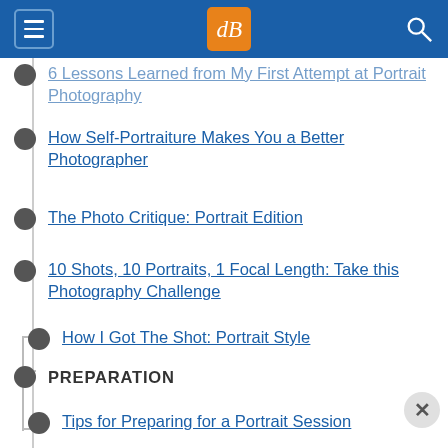dPS navigation menu header
6 Lessons Learned from My First Attempt at Portrait Photography
How Self-Portraiture Makes You a Better Photographer
The Photo Critique: Portrait Edition
10 Shots, 10 Portraits, 1 Focal Length: Take this Photography Challenge
How I Got The Shot: Portrait Style
PREPARATION
Tips for Preparing for a Portrait Session